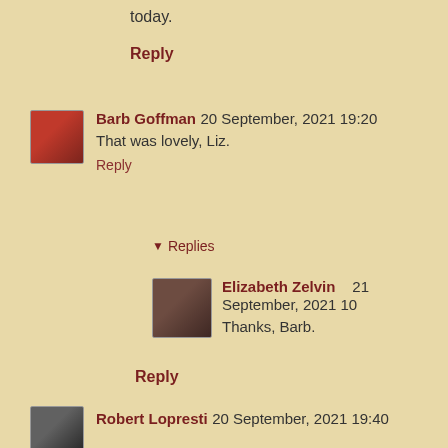today.
Reply
Barb Goffman 20 September, 2021 19:20
That was lovely, Liz.
Reply
Replies
Elizabeth Zelvin 21 September, 2021 10
Thanks, Barb.
Reply
Robert Lopresti 20 September, 2021 19:40